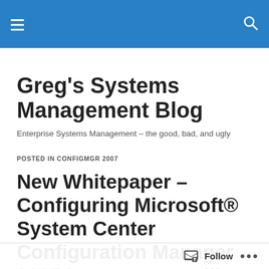Greg's Systems Management Blog — site header navigation bar
Greg's Systems Management Blog
Enterprise Systems Management – the good, bad, and ugly
POSTED IN CONFIGMGR 2007
New Whitepaper – Configuring Microsoft® System Center Configuration Manager 2007 Inventory to utilize Dell™ OpenManage™ Client...